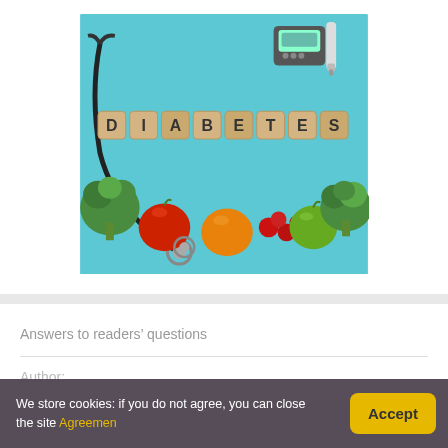[Figure (photo): A photo on a light blue background showing wooden letter tiles spelling DIABETES, a stethoscope, a blood glucose meter, a lancet pen, and fresh vegetables and fruits including broccoli, apples, tomatoes, and an orange.]
Answers to readers’ questions
Author:
We store cookies: if you do not agree, you can close the site Agreemen
Accept